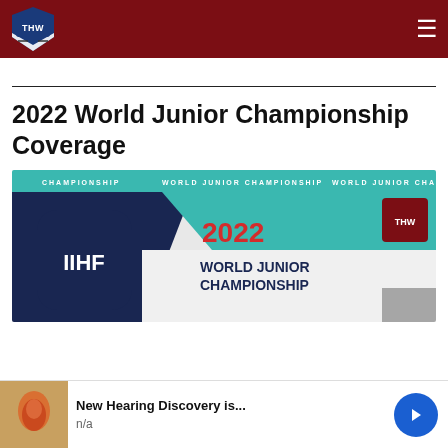THW Hockey Writers — site header with logo and navigation
2022 World Junior Championship Coverage
[Figure (photo): IIHF 2022 World Junior Championship banner image with teal and navy branding, THW logo in top right, large text reading IIHF 2022 WORLD JUNIOR CHAMPIONSHIP on white/grey background with geometric shapes]
[Figure (infographic): Advertisement banner: New Hearing Discovery is... n/a, with anatomical image on left and blue circle arrow button on right]